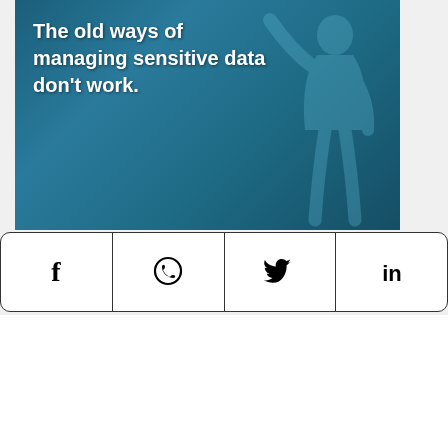[Figure (illustration): Partial view of a teal/dark blue themed promotional image showing text 'The old ways of managing sensitive data don't work.' with a silhouette of a person raising their arm in the background.]
[Figure (infographic): Social share bar with four buttons: Facebook (f), WhatsApp (speech bubble phone), Twitter (bird), LinkedIn (in)]